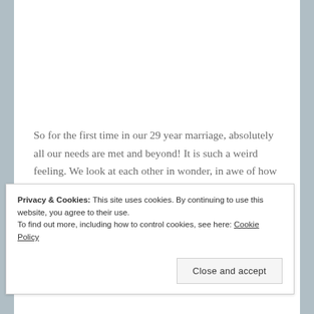So for the first time in our 29 year marriage, absolutely all our needs are met and beyond! It is such a weird feeling. We look at each other in wonder, in awe of how God has everything wrapped up for us before we move. This has been truly more than we ever dreamed of and to say we are thankful does not begin to express what is in our hearts at this moment.
Privacy & Cookies: This site uses cookies. By continuing to use this website, you agree to their use.
To find out more, including how to control cookies, see here: Cookie Policy